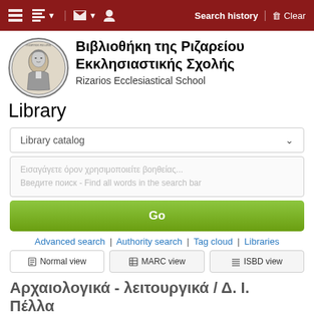Search history | Clear
[Figure (logo): Circular logo of Rizarios Ecclesiastical School with portrait of a man]
Βιβλιοθήκη της Ριζαρείου Εκκλησιαστικής Σχολής
Rizarios Ecclesiastical School Library
Library catalog
Go
Advanced search | Authority search | Tag cloud | Libraries
Normal view | MARC view | ISBD view
Αρχαιολογικά - λειτουργικά / Δ. Ι. Πέλλα